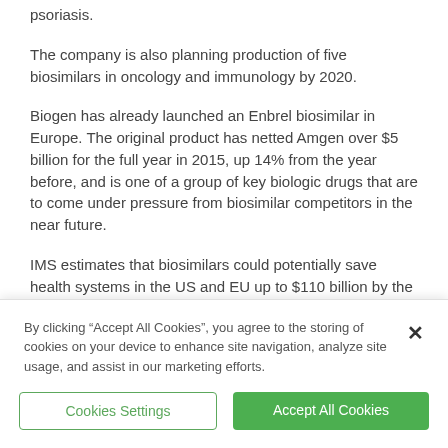psoriasis.
The company is also planning production of five biosimilars in oncology and immunology by 2020.
Biogen has already launched an Enbrel biosimilar in Europe. The original product has netted Amgen over $5 billion for the full year in 2015, up 14% from the year before, and is one of a group of key biologic drugs that are to come under pressure from biosimilar competitors in the near future.
IMS estimates that biosimilars could potentially save health systems in the US and EU up to $110 billion by the year
By clicking “Accept All Cookies”, you agree to the storing of cookies on your device to enhance site navigation, analyze site usage, and assist in our marketing efforts.
Cookies Settings
Accept All Cookies